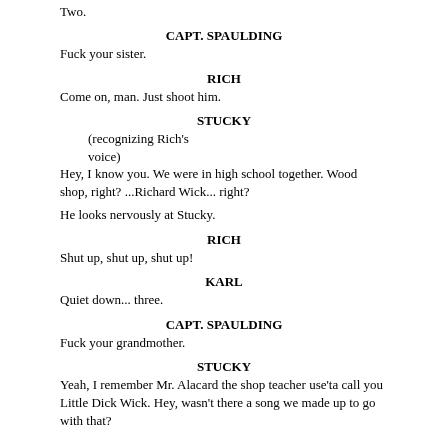Two.
CAPT. SPAULDING
Fuck your sister.
RICH
Come on, man. Just shoot him.
STUCKY
(recognizing Rich's voice)
Hey, I know you. We were in high school together. Wood shop, right? ...Richard Wick... right?
He looks nervously at Stucky.
RICH
Shut up, shut up, shut up!
KARL
Quiet down... three.
CAPT. SPAULDING
Fuck your grandmother.
STUCKY
Yeah, I remember Mr. Alacard the shop teacher use'ta call you Little Dick Wick. Hey, wasn't there a song we made up to go with that?